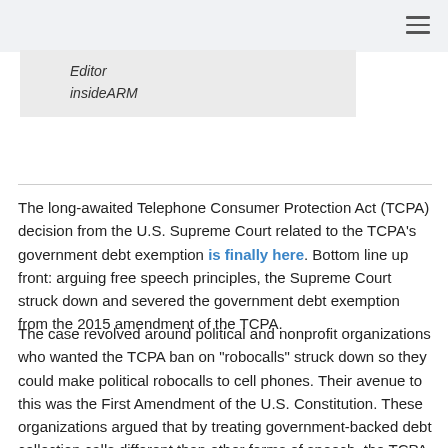Editor
insideARM
The long-awaited Telephone Consumer Protection Act (TCPA) decision from the U.S. Supreme Court related to the TCPA’s government debt exemption is finally here. Bottom line up front: arguing free speech principles, the Supreme Court struck down and severed the government debt exemption from the 2015 amendment of the TCPA.
The case revolved around political and nonprofit organizations who wanted the TCPA ban on “robocalls” struck down so they could make political robocalls to cell phones. Their avenue to this was the First Amendment of the U.S. Constitution. These organizations argued that by treating government-backed debt collection calls different than other forms of speech, the TCPA violated the First Amendment.